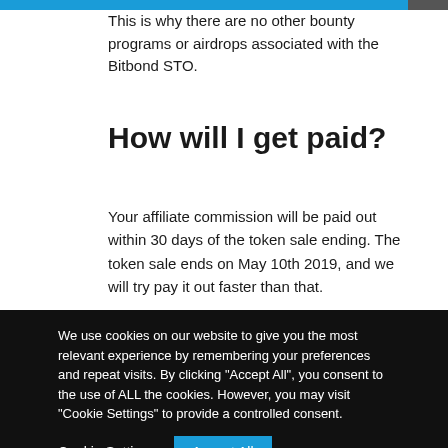This is why there are no other bounty programs or airdrops associated with the Bitbond STO.
How will I get paid?
Your affiliate commission will be paid out within 30 days of the token sale ending. The token sale ends on May 10th 2019, and we will try pay it out faster than that.
We use cookies on our website to give you the most relevant experience by remembering your preferences and repeat visits. By clicking “Accept All”, you consent to the use of ALL the cookies. However, you may visit “Cookie Settings” to provide a controlled consent.